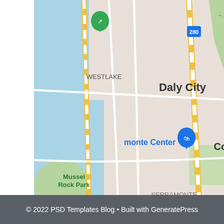[Figure (map): Google Maps view showing South San Francisco area including Daly City, Colma, Serramonte, Westborough, South San Francisco, San Bruno, Tanforan, Pacifica, Mussel Rock Park, San Bruno Mountain State & County Park, Kaiser Permanente South San Francisco hospital marker, and route markers for highways 280, 82, 35, 1.]
© 2022 PSD Templates Blog • Built with GeneratePress